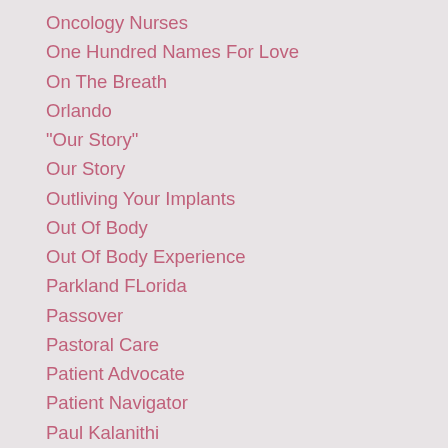Oncology Nurses
One Hundred Names For Love
On The Breath
Orlando
"Our Story"
Our Story
Outliving Your Implants
Out Of Body
Out Of Body Experience
Parkland FLorida
Passover
Pastoral Care
Patient Advocate
Patient Navigator
Paul Kalanithi
Pensacola
Peter Flier
Peter Kater
Philando Castile